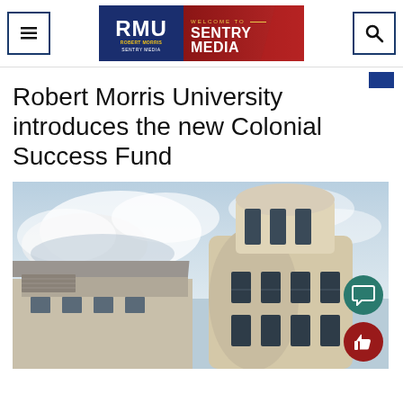RMU Sentry Media - Welcome to Sentry Media
Robert Morris University introduces the new Colonial Success Fund
[Figure (photo): Exterior photo of a Robert Morris University building with a rounded tower structure and large windows, photographed from below against a partly cloudy sky.]